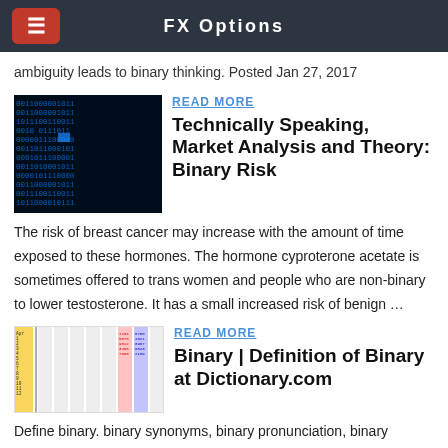FX Options
ambiguity leads to binary thinking. Posted Jan 27, 2017
READ MORE
Technically Speaking, Market Analysis and Theory: Binary Risk
[Figure (other): Binary code matrix image showing blue numbers on dark background]
The risk of breast cancer may increase with the amount of time exposed to these hormones. The hormone cyproterone acetate is sometimes offered to trans women and people who are non-binary to lower testosterone. It has a small increased risk of benign …
[Figure (table-as-image): Colorful table or chart image with columns of numbers and text in multiple colors]
READ MORE
Binary | Definition of Binary at Dictionary.com
Define binary. binary synonyms, binary pronunciation, binary